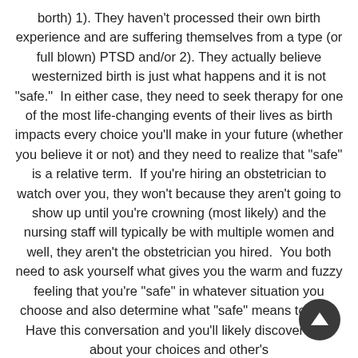borth) 1). They haven't processed their own birth experience and are suffering themselves from a type (or full blown) PTSD and/or 2). They actually believe westernized birth is just what happens and it is not "safe."  In either case, they need to seek therapy for one of the most life-changing events of their lives as birth impacts every choice you'll make in your future (whether you believe it or not) and they need to realize that "safe" is a relative term.  If you're hiring an obstetrician to watch over you, they won't because they aren't going to show up until you're crowning (most likely) and the nursing staff will typically be with multiple women and well, they aren't the obstetrician you hired.  You both need to ask yourself what gives you the warm and fuzzy feeling that you're "safe" in whatever situation you choose and also determine what "safe" means to you.  Have this conversation and you'll likely discover a lot about your choices and other's